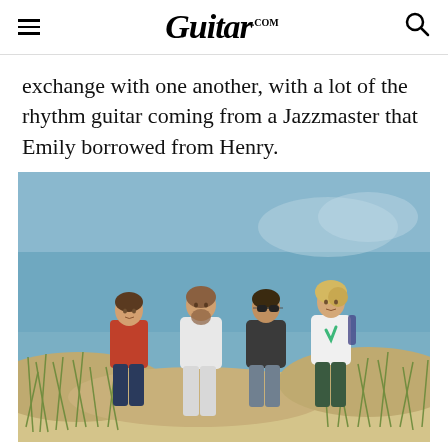Guitar.com
exchange with one another, with a lot of the rhythm guitar coming from a Jazzmaster that Emily borrowed from Henry.
[Figure (photo): Four young people standing on sand dunes with green grass, blue sky behind them. From left: person in red t-shirt, person in white outfit, person with sunglasses in dark t-shirt, person with blonde hair in white t-shirt with green logo.]